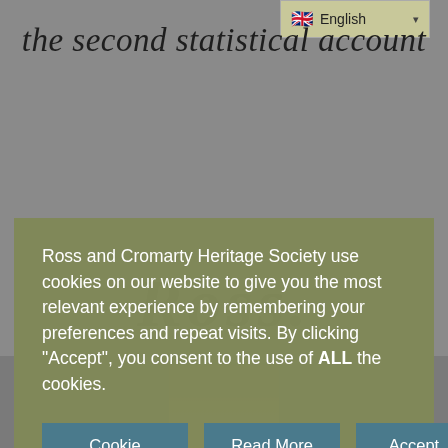English
the second statistical account
Ross and Cromarty Heritage Society use cookies on our website to give you the most relevant experience by remembering your preferences and repeat visits. By clicking “Accept”, you consent to the use of ALL the cookies.
Cookie Settings
Read More
Accept
Reject
ROSS.
[Figure (photo): Portrait photograph of a person, partially visible at the bottom of the page]